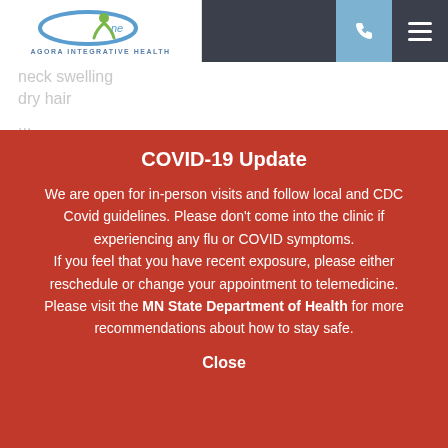[Figure (logo): Agora Integrative Health logo with circular blue swoosh and green figure, text 'One' and 'AGORA INTEGRATIVE HEALTH']
COVID-19 Update
We are open for in-person visits and follow local and CDC Covid guidelines. Please don't come into the clinic if experiencing any flu or COVID symptoms. If you feel that you have recent exposure, please either reschedule or change your appointment to telemedicine. Please visit the MN State Department of Health for more recommendations about how to stay safe.
Close
carpal tunnel syndrome
To discover the root causes behind these symptoms we'll perform a comprehensive thyroid panel testing for: TSH, T3, T4, free T3, free T4, reverse T3, and